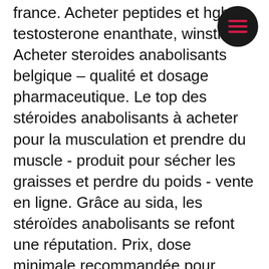france. Acheter peptides et hgh, testosterone enanthate, winstrol,. Acheter steroides anabolisants belgique – qualité et dosage pharmaceutique. Le top des stéroides anabolisants à acheter pour la musculation et prendre du muscle - produit pour sécher les graisses et perdre du poids - vente en ligne. Grâce au sida, les stéroïdes anabolisants se refont une réputation. Prix, dose minimale recommandée pour obtenir un résultat,
Ou trouver des steroides en belgique, commander  stéroïdes en ligne suppléments de musculation.. Tuna, egg yolks, beef, spinach, and fortified cereals are just a few. Is there any safe way to naturally boost a man's testosterone level? answer from todd b. Aside from making healthy lifestyle choices and. Like men, women with low testosterone levels often experience chronic fatigue, a stunt in their libido and a decreased sense of well-being. With all of